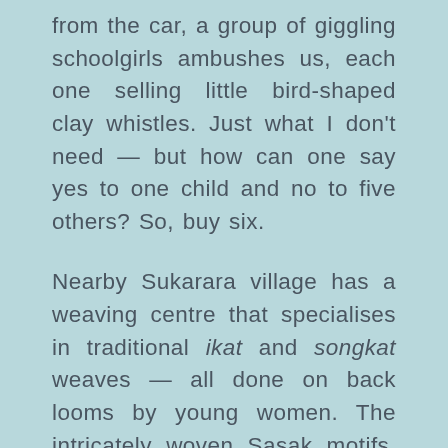from the car, a group of giggling schoolgirls ambushes us, each one selling little bird-shaped clay whistles. Just what I don't need — but how can one say yes to one child and no to five others? So, buy six.
Nearby Sukarara village has a weaving centre that specialises in traditional ikat and songkat weaves — all done on back looms by young women. The intricately woven Sasak motifs, usually of birds, flowers and granaries, are passed from mother to daughter. According to tradition, if a girl does not learn to weave her matrilineal designs she cannot marry